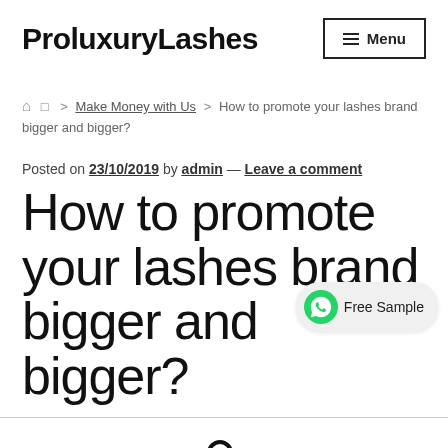ProluxuryLashes  Menu
🏠 > Make Money with Us > How to promote your lashes brand bigger and bigger?
Posted on 23/10/2019 by admin — Leave a comment
How to promote your lashes brand bigger and bigger?
[Figure (logo): WhatsApp Free Sample badge — green WhatsApp icon with 'Free Sample' text on grey rounded pill background]
Search icon (magnifying glass)